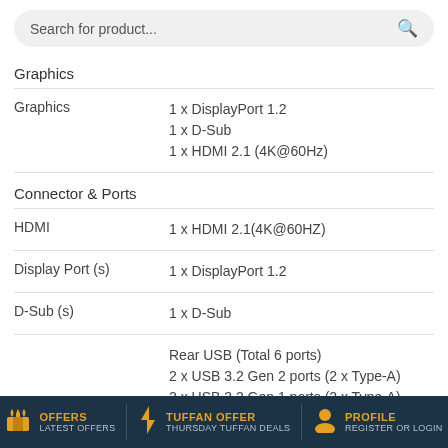Search for product...
Graphics
| Graphics | 1 x DisplayPort 1.2
1 x D-Sub
1 x HDMI 2.1 (4K@60Hz) |
Connector & Ports
| HDMI | 1 x HDMI 2.1(4K@60HZ) |
| Display Port (s) | 1 x DisplayPort 1.2 |
| D-Sub (s) | 1 x D-Sub |
|  | Rear USB (Total 6 ports)
2 x USB 3.2 Gen 2 ports (2 x Type-A)
2 x USB 3.2 Gen 1 ports (2 x Type-A)
2 x USB 2.0 ports (2 x Type-A)Front USB (Total 7 ports) |
| USB (s) | 1 x USB 3.2 Gen 1 connector (supports USB |
OFFERS LATEST OFFERS | TUFFAN OFFER THURSDAY TUFFAN DEALS | PROFILE REGISTER OR LOGIN